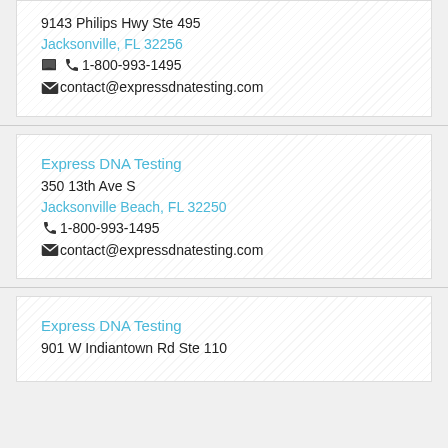9143 Philips Hwy Ste 495
Jacksonville, FL 32256
1-800-993-1495
contact@expressdnatesting.com
Express DNA Testing
350 13th Ave S
Jacksonville Beach, FL 32250
1-800-993-1495
contact@expressdnatesting.com
Express DNA Testing
901 W Indiantown Rd Ste 110